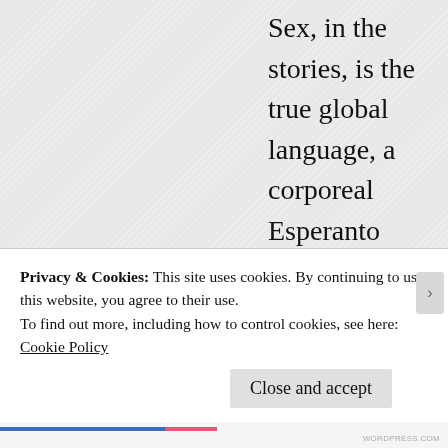Sex, in the stories, is the true global language, a corporeal Esperanto that leads, not to greater connection, but to further and deeper divisions between places and cultures. Ukrainian porn stars reflect on their potential Electra complexes while engaged in the act of recording pornographic movies, and asylum seekers deliberately sex up their claims in cynical pitches to the prurience of European sanctimony. Aid
Privacy & Cookies: This site uses cookies. By continuing to use this website, you agree to their use.
To find out more, including how to control cookies, see here:
Cookie Policy